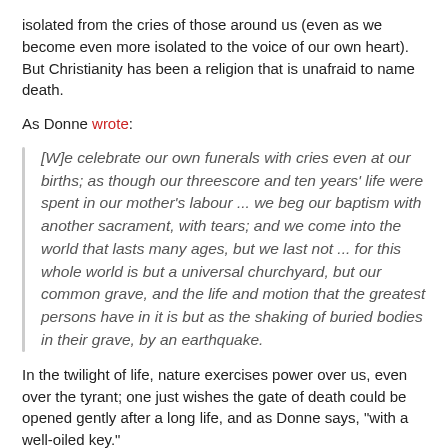isolated from the cries of those around us (even as we become even more isolated to the voice of our own heart). But Christianity has been a religion that is unafraid to name death.
As Donne wrote:
[W]e celebrate our own funerals with cries even at our births; as though our threescore and ten years' life were spent in our mother's labour ... we beg our baptism with another sacrament, with tears; and we come into the world that lasts many ages, but we last not ... for this whole world is but a universal churchyard, but our common grave, and the life and motion that the greatest persons have in it is but as the shaking of buried bodies in their grave, by an earthquake.
In the twilight of life, nature exercises power over us, even over the tyrant; one just wishes the gate of death could be opened gently after a long life, and as Donne says, "with a well-oiled key."